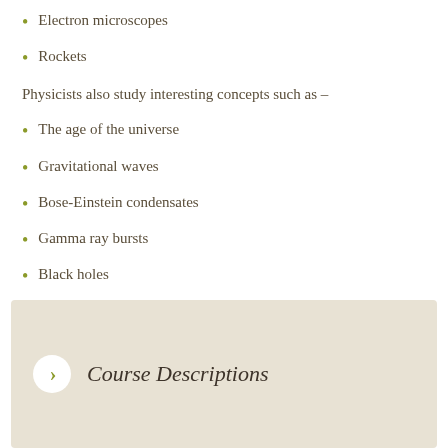Electron microscopes
Rockets
Physicists also study interesting concepts such as –
The age of the universe
Gravitational waves
Bose-Einstein condensates
Gamma ray bursts
Black holes
Course Descriptions